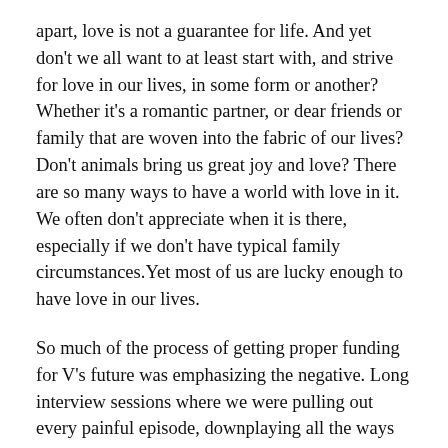apart, love is not a guarantee for life. And yet don't we all want to at least start with, and strive for love in our lives, in some form or another? Whether it's a romantic partner, or dear friends or family that are woven into the fabric of our lives? Don't animals bring us great joy and love? There are so many ways to have a world with love in it. We often don't appreciate when it is there, especially if we don't have typical family circumstances.Yet most of us are lucky enough to have love in our lives.
So much of the process of getting proper funding for V's future was emphasizing the negative. Long interview sessions where we were pulling out every painful episode, downplaying all the ways that V has been relatively stable this last school year. Having to tell his school case manager that the disability agency didn't